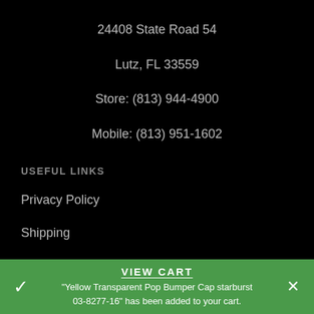24408 State Road 54
Lutz, FL 33559
Store: (813) 944-4900
Mobile: (813) 951-1602
USEFUL LINKS
Privacy Policy
Shipping
Returns & Exchanges
Terms & Conditions
Contact Us
VIEW CART
"Yellow Transparent Pop Bumper Cap starburst 03-8277-16" has been added to your cart.